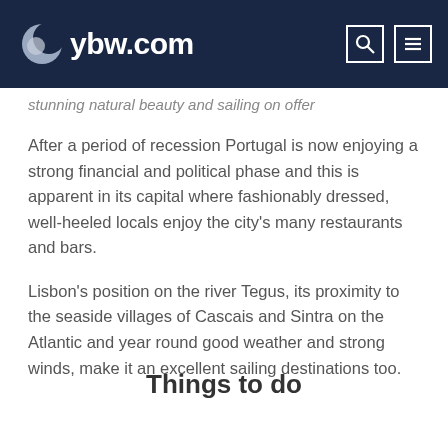ybw.com
stunning natural beauty and sailing on offer
After a period of recession Portugal is now enjoying a strong financial and political phase and this is apparent in its capital where fashionably dressed, well-heeled locals enjoy the city's many restaurants and bars.
Lisbon's position on the river Tegus, its proximity to the seaside villages of Cascais and Sintra on the Atlantic and year round good weather and strong winds, make it an excellent sailing destinations too.
Things to do